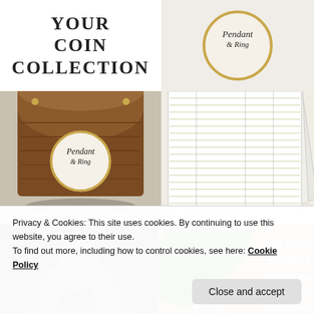YOUR COIN COLLECTION
[Figure (logo): Pendant & Ring circular logo with gold border on white background]
[Figure (photo): Wooden treasure chest with Pendant & Ring circular logo sticker on front]
[Figure (photo): Spreadsheet / ledger pages with ruled green lines for coin collection tracking]
[Figure (photo): Black and white photo of person wearing layered necklaces over a v-neck top]
[Figure (photo): Green foliage background with ring pendant jewelry and white bold text listing: with jeans, sweaters, jumpsuits, swimsuits, turtlenecks, button-downs, on picture day, to a wedding]
Privacy & Cookies: This site uses cookies. By continuing to use this website, you agree to their use.
To find out more, including how to control cookies, see here: Cookie Policy
Close and accept